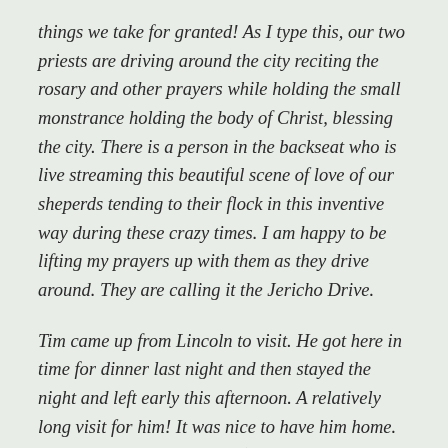things we take for granted! As I type this, our two priests are driving around the city reciting the rosary and other prayers while holding the small monstrance holding the body of Christ, blessing the city. There is a person in the backseat who is live streaming this beautiful scene of love of our sheperds tending to their flock in this inventive way during these crazy times. I am happy to be lifting my prayers up with them as they drive around. They are calling it the Jericho Drive.
Tim came up from Lincoln to visit. He got here in time for dinner last night and then stayed the night and left early this afternoon. A relatively long visit for him! It was nice to have him home. Tallinn loves him to pieces (although I am not sure the feeling is mutual most of the time). Tim also did discover a will on the t...